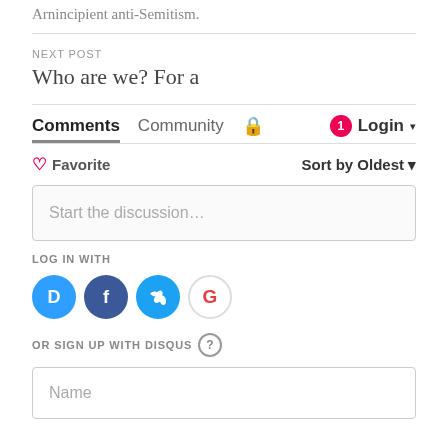Arnincipient anti-Semitism.
NEXT POST
Who are we? For a
Comments  Community  🔒  1  Login ▾
♡ Favorite   Sort by Oldest ▾
Start the discussion…
LOG IN WITH
[Figure (logo): Social login icons: Disqus (blue circle with D), Facebook (dark blue circle with f), Twitter (light blue circle with bird), Google (white circle with G)]
OR SIGN UP WITH DISQUS ?
Name